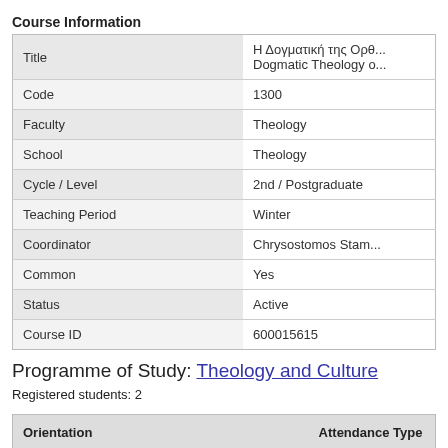Course Information
| Field | Value |
| --- | --- |
| Title | Η Δογματική της Ορθ... / Dogmatic Theology o... |
| Code | 1300 |
| Faculty | Theology |
| School | Theology |
| Cycle / Level | 2nd / Postgraduate |
| Teaching Period | Winter |
| Coordinator | Chrysostomos Stam... |
| Common | Yes |
| Status | Active |
| Course ID | 600015615 |
Programme of Study: Theology and Culture
Registered students: 2
| Orientation | Attendance Type |
| --- | --- |
| CHristianikī Grammateia kai Istoría | EE-EMVATHYNSIS |
| Systīmatikī THeología, Koinōniologia kai Spoudī tīs THrīskeías | YE-EMVATHYNSIS |
| Praktikī THeologia kai Paidagōgikī | EE-EMVATHYNSIS |